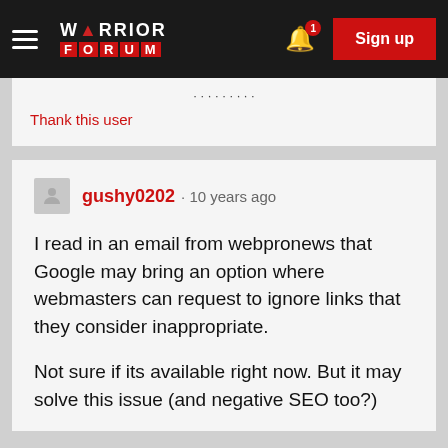Warrior Forum | Sign up
Thank this user
gushy0202 · 10 years ago
I read in an email from webpronews that Google may bring an option where webmasters can request to ignore links that they consider inappropriate.

Not sure if its available right now. But it may solve this issue (and negative SEO too?)